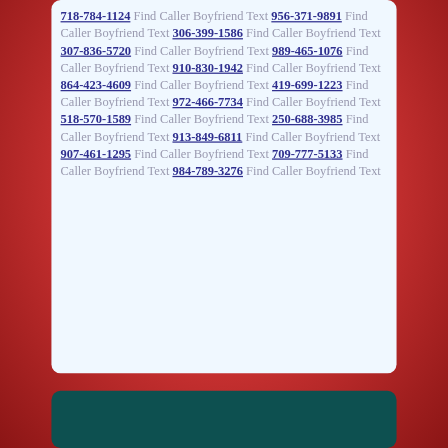718-784-1124 Find Caller Boyfriend Text 956-371-9891 Find Caller Boyfriend Text 306-399-1586 Find Caller Boyfriend Text 307-836-5720 Find Caller Boyfriend Text 989-465-1076 Find Caller Boyfriend Text 910-830-1942 Find Caller Boyfriend Text 864-423-4609 Find Caller Boyfriend Text 419-699-1223 Find Caller Boyfriend Text 972-466-7734 Find Caller Boyfriend Text 518-570-1589 Find Caller Boyfriend Text 250-688-3985 Find Caller Boyfriend Text 913-849-6811 Find Caller Boyfriend Text 907-461-1295 Find Caller Boyfriend Text 709-777-5133 Find Caller Boyfriend Text 984-789-3276 Find Caller Boyfriend Text